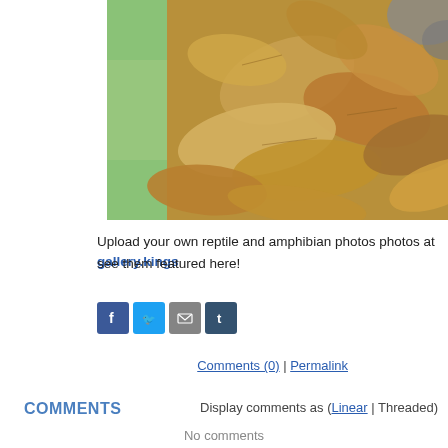[Figure (photo): Close-up photograph of dried brown and tan autumn leaves on the ground, with a green blurred background visible on the left side and a grey textured surface on the upper right.]
Upload your own reptile and amphibian photos photos at gallery.kings… see them featured here!
[Figure (other): Social media share buttons: Facebook (blue), Twitter (light blue), Email (grey), Tumblr (dark blue)]
Comments (0) | Permalink
COMMENTS
Display comments as (Linear | Threaded)
No comments